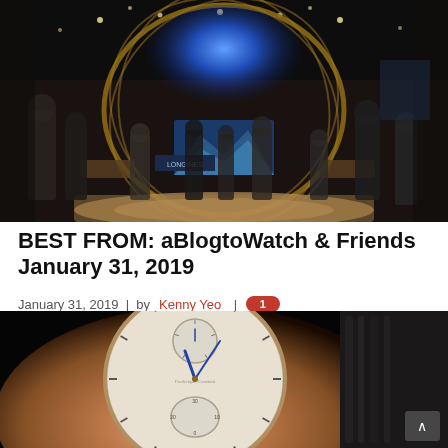[Figure (photo): Wide-angle interior shot of a luxury watch fair/exhibition booth featuring a large globe-shaped wooden structure with a glowing blue celestial display at the top, warm wooden floors arranged in a circular pattern, display cases, and numerous visitors and professionals walking around in a dark, upscale setting.]
BEST FROM: aBlogtoWatch & Friends January 31, 2019
January 31, 2019 | by Kenny Yeo | 1 comment
[Figure (photo): Close-up photograph of a luxury rose gold watch with a silvery dial featuring two sub-dials, blue steel hands, and a dark alligator leather strap, shot against a black background.]